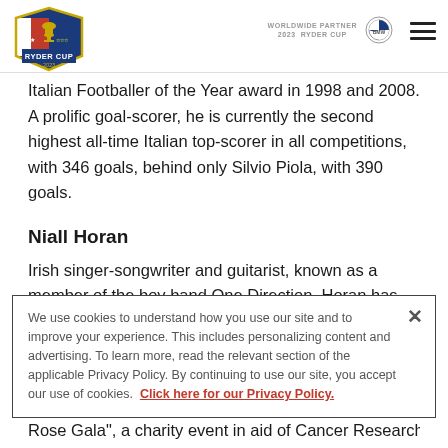WORLDWIDE PARTNER 2023 RYDER CUP
Italian Footballer of the Year award in 1998 and 2008. A prolific goal-scorer, he is currently the second highest all-time Italian top-scorer in all competitions, with 346 goals, behind only Silvio Piola, with 390 goals.
Niall Horan
Irish singer-songwriter and guitarist, known as a member of the boy band One Direction. Horan has involved himself in the country and has a number of times organised
We use cookies to understand how you use our site and to improve your experience. This includes personalizing content and advertising. To learn more, read the relevant section of the applicable Privacy Policy. By continuing to use our site, you accept our use of cookies. Click here for our Privacy Policy.
Rose Gala", a charity event in aid of Cancer Research UK